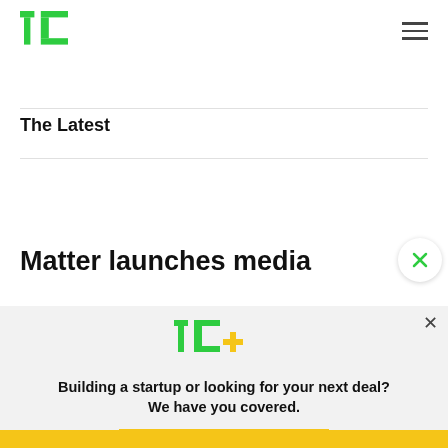TechCrunch logo and navigation
The Latest
Matter launches media
[Figure (logo): TechCrunch TC+ logo in green and gold]
Building a startup or looking for your next deal? We have you covered.
EXPLORE NOW